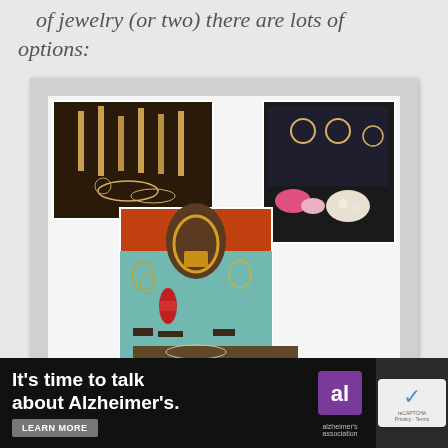of jewelry (or two) there are lots of options:
[Figure (photo): Collage of three jewelry display photos showing various necklaces, earrings, bracelets and decorative pieces on display stands. Top-left shows a dark-lit display with silver jewelry, top-right shows a dark case with colorful costume jewelry including pink and white floral pieces, and the center-bottom shows an orange/red backdrop with a gold necklace centerpiece and earrings on teal fabric. Watermark reads thelluscifiles.com]
[Figure (other): Advertisement banner: black background with white bold text reading 'It's time to talk about Alzheimer's.' with a 'LEARN MORE' button, Alzheimer's Association logo (al with purple square), and a reCAPTCHA box partially visible on the right.]